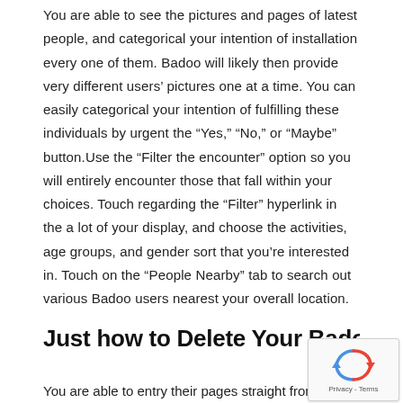You are able to see the pictures and pages of latest people, and categorical your intention of installation every one of them. Badoo will likely then provide very different users' pictures one at a time. You can easily categorical your intention of fulfilling these individuals by urgent the “Yes,” “No,” or “Maybe” button.Use the “Filter the encounter” option so you will entirely encounter those that fall within your choices. Touch regarding the “Filter” hyperlink in the a lot of your display, and choose the activities, age groups, and gender sort that you’re interested in. Touch on the “People Nearby” tab to search out various Badoo users nearest your overall location.
Just how to Delete Your Badoo Account
You are able to entry their pages straight from